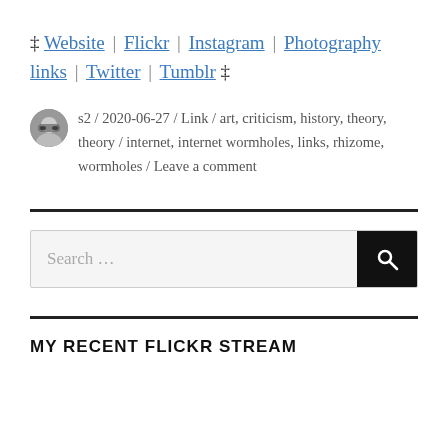‡ Website | Flickr | Instagram | Photography links | Twitter | Tumblr ‡
s2 / 2020-06-27 / Link / art, criticism, history, theory, theory / internet, internet wormholes, links, rhizome, wormholes / Leave a comment
Search ...
MY RECENT FLICKR STREAM